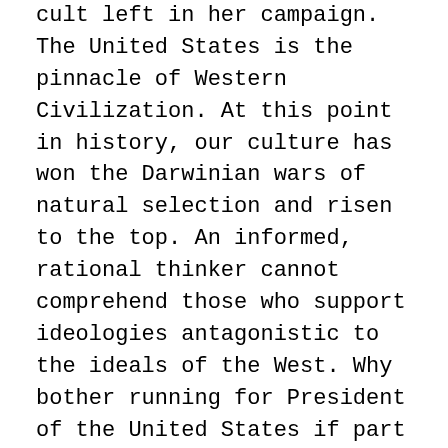cult left in her campaign. The United States is the pinnacle of Western Civilization. At this point in history, our culture has won the Darwinian wars of natural selection and risen to the top. An informed, rational thinker cannot comprehend those who support ideologies antagonistic to the ideals of the West. Why bother running for President of the United States if part of your voting base wishes to destroy it? Hillary didn't just dog whistle to the cult left, she adopted their language, their posture, and promised her victory would be theirs. It's almost as if a vote for Hillary was a vote to end culture as we know it.
Our collective understanding of feminism is